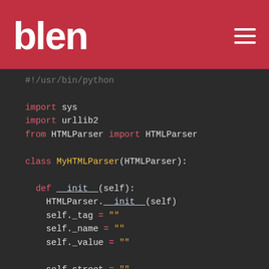[Figure (logo): blen logo in white text on red header background with hamburger menu icon]
#!/usr/bin/python

import sys
import urllib2
from HTMLParser import HTMLParser

class MyHTMLParser(HTMLParser):

    def __init__(self):
        HTMLParser.__init__(self)
        self._tag = ""
        self._name = ""
        self._value = ""

        self.street = ""
        self.city = ""
        self.state = ""
        self.zipcode = ""

    def handle_starttag(self, tag, attrs):
        self._tag = tag